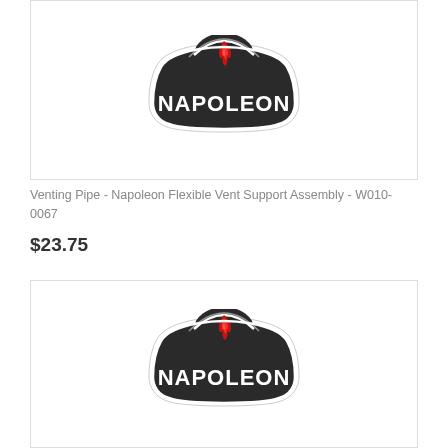[Figure (logo): Napoleon brand logo: dark rounded badge shape with red flame icon on top and NAPOLEON text in white bold letters]
Venting Pipe - Napoleon Flexible Vent Support Assembly - W010-0067
$23.75
[Figure (logo): Napoleon brand logo: dark rounded badge shape with red flame icon on top and NAPOLEON text in white bold letters]